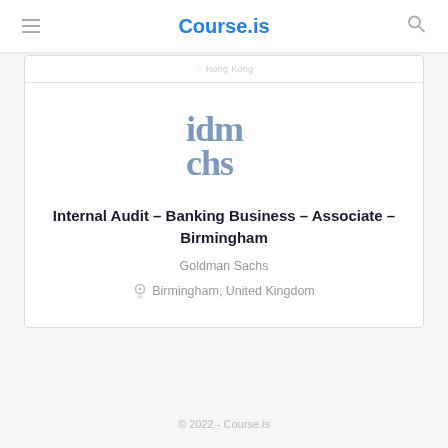Course.is
Hong Kong
[Figure (logo): idm chs logo in blue-grey stylized text]
Internal Audit – Banking Business – Associate – Birmingham
Goldman Sachs
Birmingham, United Kingdom
© 2022 - Course.is